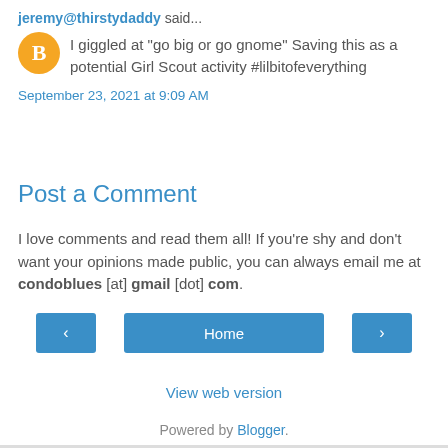jeremy@thirstydaddy said...
I giggled at "go big or go gnome" Saving this as a potential Girl Scout activity #lilbitofeverything
September 23, 2021 at 9:09 AM
Post a Comment
I love comments and read them all! If you're shy and don't want your opinions made public, you can always email me at condoblues [at] gmail [dot] com.
‹
Home
›
View web version
Powered by Blogger.